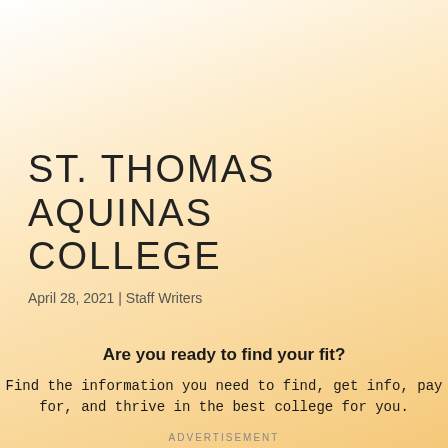ST. THOMAS AQUINAS COLLEGE
April 28, 2021 | Staff Writers
Are you ready to find your fit?
Find the information you need to find, get info, pay for, and thrive in the best college for you.
ADVERTISEMENT